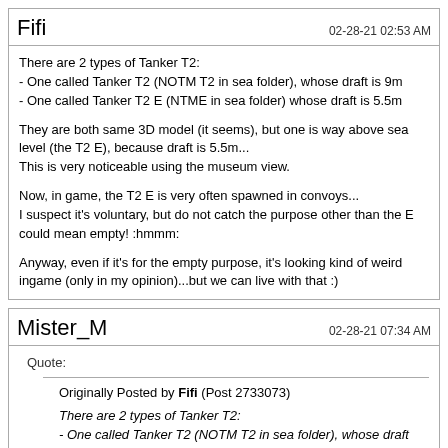Fifi
02-28-21 02:53 AM
There are 2 types of Tanker T2:
- One called Tanker T2 (NOTM T2 in sea folder), whose draft is 9m
- One called Tanker T2 E (NTME in sea folder) whose draft is 5.5m

They are both same 3D model (it seems), but one is way above sea level (the T2 E), because draft is 5.5m...
This is very noticeable using the museum view.

Now, in game, the T2 E is very often spawned in convoys...
I suspect it's voluntary, but do not catch the purpose other than the E could mean empty! :hmmm:

Anyway, even if it's for the empty purpose, it's looking kind of weird ingame (only in my opinion)...but we can live with that :)
Mister_M
02-28-21 07:34 AM
Quote:
Originally Posted by Fifi (Post 2733073)
There are 2 types of Tanker T2:
- One called Tanker T2 (NOTM T2 in sea folder), whose draft is 9m
- One called Tanker T2 E (NTME in sea folder) whose draft is 5.5m